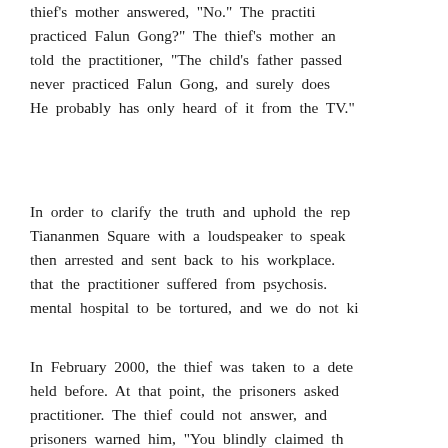thief's mother answered, "No." The practitioner practiced Falun Gong?" The thief's mother and told the practitioner, "The child's father passed never practiced Falun Gong, and surely does He probably has only heard of it from the TV."
In order to clarify the truth and uphold the reputation, Tiananmen Square with a loudspeaker to speak then arrested and sent back to his workplace. that the practitioner suffered from psychosis. mental hospital to be tortured, and we do not know
In February 2000, the thief was taken to a detention held before. At that point, the prisoners asked practitioner. The thief could not answer, and prisoners warned him, "You blindly claimed that Falun Gong practitioners are anything like you"